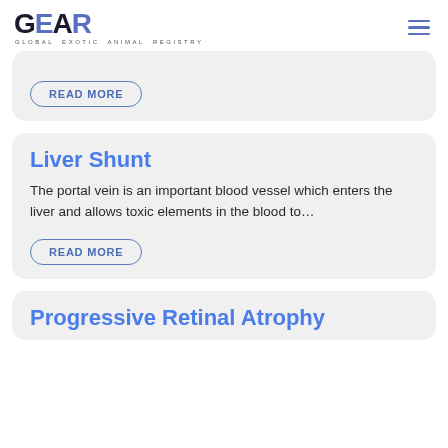GEAR - GLOBAL EXOTIC ANIMAL REGISTRY
READ MORE
Liver Shunt
The portal vein is an important blood vessel which enters the liver and allows toxic elements in the blood to…
READ MORE
Progressive Retinal Atrophy